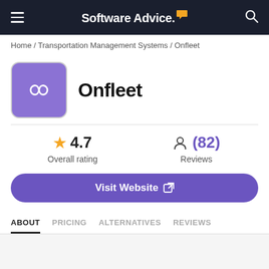Software Advice
Home / Transportation Management Systems / Onfleet
Onfleet
★ 4.7 Overall rating
(82) Reviews
Visit Website
ABOUT   PRICING   ALTERNATIVES   REVIEWS